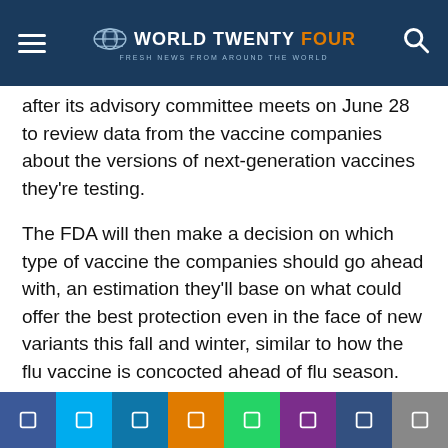WORLD TWENTY FOUR — FRESH NEWS FROM AROUND THE WORLD
after its advisory committee meets on June 28 to review data from the vaccine companies about the versions of next-generation vaccines they’re testing.
The FDA will then make a decision on which type of vaccine the companies should go ahead with, an estimation they’ll base on what could offer the best protection even in the face of new variants this fall and winter, similar to how the flu vaccine is concocted ahead of flu season.
“We’ll have to make some decision by early July to make sure that the manufacturers know what we’re looking to do, so that they know what they have to start producing in large quantities,” Marks, who serves as director of the department